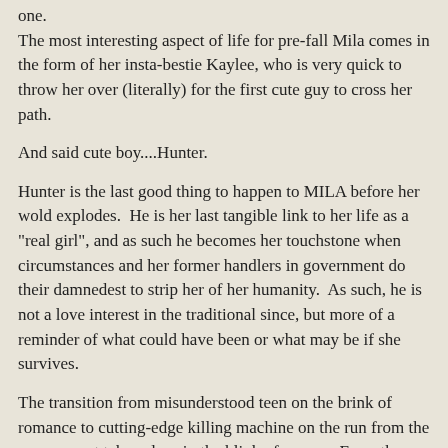one. The most interesting aspect of life for pre-fall Mila comes in the form of her insta-bestie Kaylee, who is very quick to throw her over (literally) for the first cute guy to cross her path.
And said cute boy....Hunter.
Hunter is the last good thing to happen to MILA before her wold explodes.  He is her last tangible link to her life as a "real girl", and as such he becomes her touchstone when circumstances and her former handlers in government do their damnedest to strip her of her humanity.  As such, he is not a love interest in the traditional since, but more of a reminder of what could have been or what may be if she survives.
The transition from misunderstood teen on the brink of romance to cutting-edge killing machine on the run from the government takes place in the blink of an eye.  From there the takes a much more believable turn and the pace becomes break-neck.